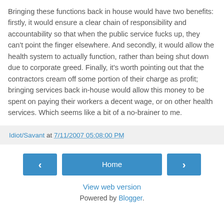Bringing these functions back in house would have two benefits: firstly, it would ensure a clear chain of responsibility and accountability so that when the public service fucks up, they can't point the finger elsewhere. And secondly, it would allow the health system to actually function, rather than being shut down due to corporate greed. Finally, it's worth pointing out that the contractors cream off some portion of their charge as profit; bringing services back in-house would allow this money to be spent on paying their workers a decent wage, or on other health services. Which seems like a bit of a no-brainer to me.
Idiot/Savant at 7/11/2007 05:08:00 PM
Home
View web version
Powered by Blogger.